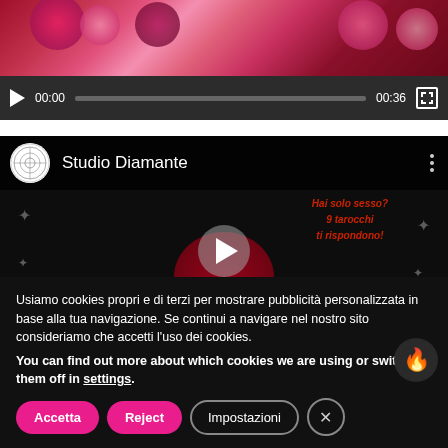[Figure (screenshot): Video player showing flowers/roses image with dark playback controls bar at bottom showing 00:00 / 00:36 timecode and fullscreen button]
[Figure (screenshot): YouTube embedded video thumbnail with Studio Diamante channel name, circular logo, and playing card/tarot themed Italian text overlay with play button]
Usiamo cookies propri e di terzi per mostrare pubblicità personalizzata in base alla tua navigazione. Se continui a navigare nel nostro sito consideriamo che accetti l'uso dei cookies.
You can find out more about which cookies we are using or switch them off in settings.